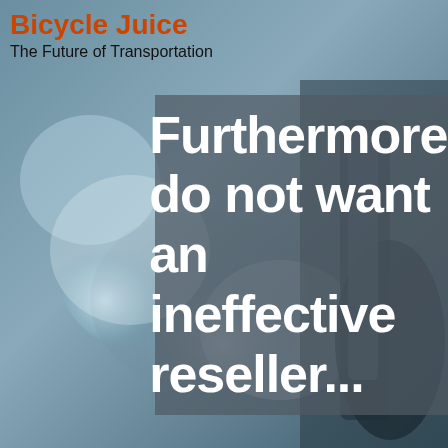[Figure (photo): Blurred background photo of a person holding a smartphone, with bokeh lighting effects in blue and grey tones.]
Bicycle Juice
The Future of Transportation
Furthermore, do not want an ineffective reseller...